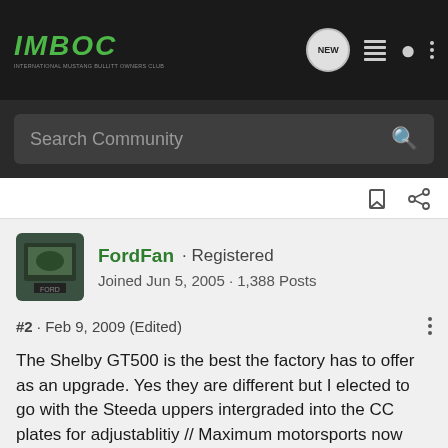[Figure (logo): IMBOC International Mustang Bullitt Owners Club logo in green italic text on dark background]
Search Community
FordFan · Registered
Joined Jun 5, 2005 · 1,388 Posts
#2 · Feb 9, 2009 (Edited)
The Shelby GT500 is the best the factory has to offer as an upgrade. Yes they are different but I elected to go with the Steeda uppers intergraded into the CC plates for adjustablitiy // Maximum motorsports now also has a version..
No issues with noise or harshness with the Steeda's, the alignment shop really liked the ease of adjustment from the camber plates. The MM's weren't available at the time, but I